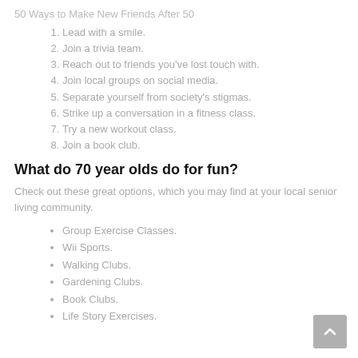50 Ways to Make New Friends After 50
1. Lead with a smile.
2. Join a trivia team.
3. Reach out to friends you've lost touch with.
4. Join local groups on social media.
5. Separate yourself from society's stigmas.
6. Strike up a conversation in a fitness class.
7. Try a new workout class.
8. Join a book club.
What do 70 year olds do for fun?
Check out these great options, which you may find at your local senior living community.
Group Exercise Classes.
Wii Sports.
Walking Clubs.
Gardening Clubs.
Book Clubs.
Life Story Exercises.